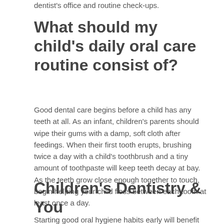dentist's office and routine check-ups.
What should my child's daily oral care routine consist of?
Good dental care begins before a child has any teeth at all. As an infant, children's parents should wipe their gums with a damp, soft cloth after feedings. When their first tooth erupts, brushing twice a day with a child's toothbrush and a tiny amount of toothpaste will keep teeth decay at bay. As the teeth grow close enough together to touch, begin helping your child floss between each tooth at least once a day.
Children's Dentistry & You
Starting good oral hygiene habits early will benefit